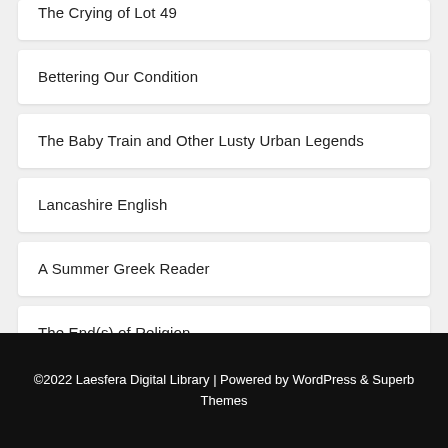The Crying of Lot 49
Bettering Our Condition
The Baby Train and Other Lusty Urban Legends
Lancashire English
A Summer Greek Reader
The End(s) of Religion
©2022 Laesfera Digital Library | Powered by WordPress & Superb Themes